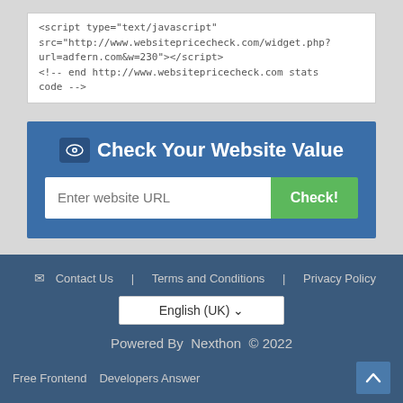[Figure (screenshot): Code block showing HTML script tag with websitepricecheck.com widget URL and HTML comment]
[Figure (screenshot): Blue widget panel with 'Check Your Website Value' heading, URL text input field, and green Check! button]
Contact Us | Terms and Conditions | Privacy Policy
English (UK)
Powered By Nexthon © 2022
Free Frontend   Developers Answer